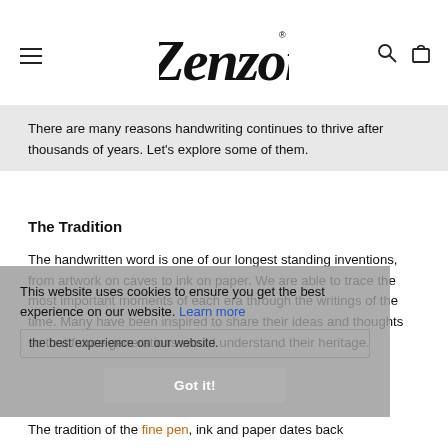Zenzoi [logo with hamburger menu, search, and cart icons]
There are many reasons handwriting continues to thrive after thousands of years. Let's explore some of them.
The Tradition
The handwritten word is one of our longest standing inventions, from artwork on caves to ink on paper. We are able to trace the most important moments of each era through the writings of the time. Many have been inspired to share their ideas and thoughts so that future generations would understand their heritage.
This website uses cookies to ensure you get the best experience on our website. Learn more
Got it!
The tradition of the fine pen, ink and paper dates back